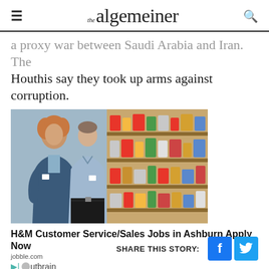the algemeiner
a proxy war between Saudi Arabia and Iran. The Houthis say they took up arms against corruption.
[Figure (photo): Two retail store employees walking along a product shelf inside a store; a woman with curly hair in a dark jacket and a young man in a light blue shirt with a name badge.]
H&M Customer Service/Sales Jobs in Ashburn Apply Now
jobble.com
Outbrain
SHARE THIS STORY: